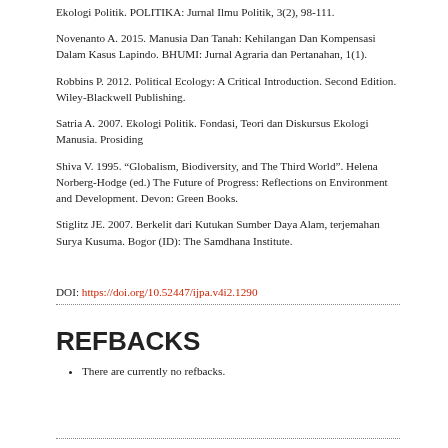Ekologi Politik. POLITIKA: Jurnal Ilmu Politik, 3(2), 98-111.
Novenanto A. 2015. Manusia Dan Tanah: Kehilangan Dan Kompensasi Dalam Kasus Lapindo. BHUMI: Jurnal Agraria dan Pertanahan, 1(1).
Robbins P. 2012. Political Ecology: A Critical Introduction. Second Edition. Wiley-Blackwell Publishing.
Satria A. 2007. Ekologi Politik. Fondasi, Teori dan Diskursus Ekologi Manusia. Prosiding
Shiva V. 1995. “Globalism, Biodiversity, and The Third World”. Helena Norberg-Hodge (ed.) The Future of Progress: Reflections on Environment and Development. Devon: Green Books.
Stiglitz JE. 2007. Berkelit dari Kutukan Sumber Daya Alam, terjemahan Surya Kusuma. Bogor (ID): The Samdhana Institute.
DOI: https://doi.org/10.52447/ijpa.v4i2.1290
REFBACKS
There are currently no refbacks.